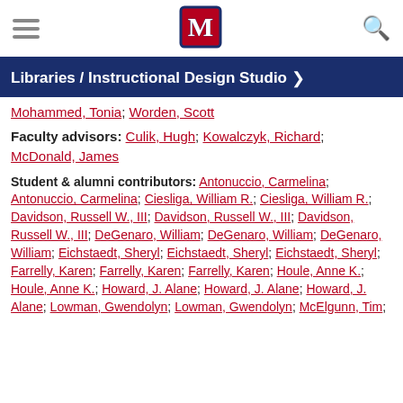Libraries / Instructional Design Studio
Mohammed, Tonia; Worden, Scott
Faculty advisors: Culik, Hugh; Kowalczyk, Richard; McDonald, James
Student & alumni contributors: Antonuccio, Carmelina; Antonuccio, Carmelina; Ciesliga, William R.; Ciesliga, William R.; Davidson, Russell W., III; Davidson, Russell W., III; Davidson, Russell W., III; DeGenaro, William; DeGenaro, William; DeGenaro, William; Eichstaedt, Sheryl; Eichstaedt, Sheryl; Eichstaedt, Sheryl; Farrelly, Karen; Farrelly, Karen; Farrelly, Karen; Houle, Anne K.; Houle, Anne K.; Howard, J. Alane; Howard, J. Alane; Howard, J. Alane; Lowman, Gwendolyn; Lowman, Gwendolyn; McElgunn, Tim;